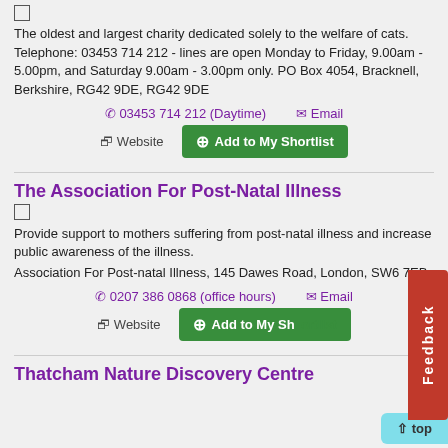The oldest and largest charity dedicated solely to the welfare of cats. Telephone: 03453 714 212 - lines are open Monday to Friday, 9.00am - 5.00pm, and Saturday 9.00am - 3.00pm only. PO Box 4054, Bracknell, Berkshire, RG42 9DE, RG42 9DE
03453 714 212 (Daytime)   Email   Website   Add to My Shortlist
The Association For Post-Natal Illness
Provide support to mothers suffering from post-natal illness and increase public awareness of the illness. Association For Post-natal Illness, 145 Dawes Road, London, SW6 7EB
0207 386 0868 (office hours)   Email   Website   Add to My Shortlist
Thatcham Nature Discovery Centre